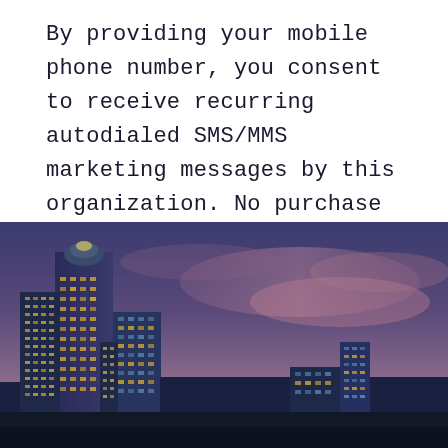By providing your mobile phone number, you consent to receive recurring autodialed SMS/MMS marketing messages by this organization. No purchase required. Msg&data rates may apply. Text STOP to cancel or HELP for help.
[Figure (photo): City skyline at dusk/night with illuminated skyscrapers against a purple and pink sky. The buildings are lit with warm golden lights and the sky has a gradient from deep blue-purple to pink clouds.]